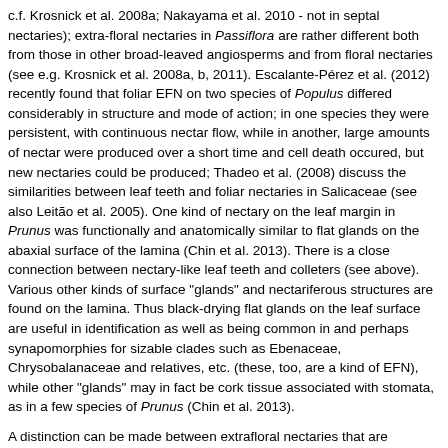c.f. Krosnick et al. 2008a; Nakayama et al. 2010 - not in septal nectaries); extra-floral nectaries in Passiflora are rather different both from those in other broad-leaved angiosperms and from floral nectaries (see e.g. Krosnick et al. 2008a, b, 2011). Escalante-Pérez et al. (2012) recently found that foliar EFN on two species of Populus differed considerably in structure and mode of action; in one species they were persistent, with continuous nectar flow, while in another, large amounts of nectar were produced over a short time and cell death occured, but new nectaries could be produced; Thadeo et al. (2008) discuss the similarities between leaf teeth and foliar nectaries in Salicaceae (see also Leitão et al. 2005). One kind of nectary on the leaf margin in Prunus was functionally and anatomically similar to flat glands on the abaxial surface of the lamina (Chin et al. 2013). There is a close connection between nectary-like leaf teeth and colleters (see above). Various other kinds of surface "glands" and nectariferous structures are found on the lamina. Thus black-drying flat glands on the leaf surface are useful in identification as well as being common in and perhaps synapomorphies for sizable clades such as Ebenaceae, Chrysobalanaceae and relatives, etc. (these, too, are a kind of EFN), while other "glands" may in fact be cork tissue associated with stomata, as in a few species of Prunus (Chin et al. 2013).
A distinction can be made between extrafloral nectaries that are intimately involved in pollination, such as the nectaries on the cyathia of Euphorbia (= nuptial nectaries), and those that have nothing immediately to do with pollination, but may attract ants that help protect the plant against herbivores or destroy the young stems of vines that would otherwise use the plant as support and in the process smother it (extra-nuptial nectaries).
Punctations, often "glands" of various kinds, are evident when the leaf is